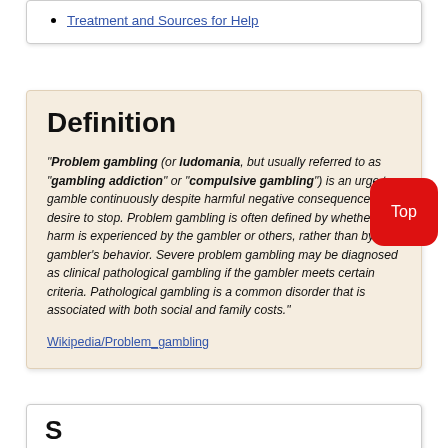Treatment and Sources for Help
Definition
"Problem gambling (or ludomania, but usually referred to as "gambling addiction" or "compulsive gambling") is an urge to gamble continuously despite harmful negative consequences or a desire to stop. Problem gambling is often defined by whether harm is experienced by the gambler or others, rather than by the gambler's behavior. Severe problem gambling may be diagnosed as clinical pathological gambling if the gambler meets certain criteria. Pathological gambling is a common disorder that is associated with both social and family costs."
Wikipedia/Problem_gambling